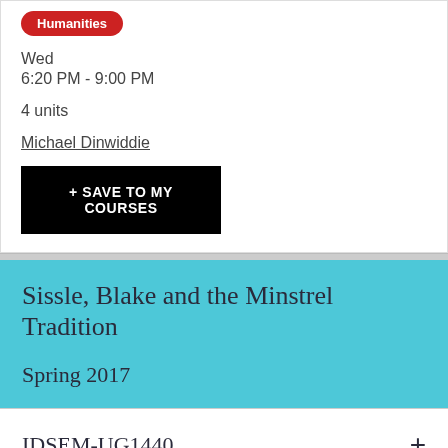Humanities
Wed
6:20 PM - 9:00 PM
4 units
Michael Dinwiddie
+ SAVE TO MY COURSES
Sissle, Blake and the Minstrel Tradition
Spring 2017
IDSEM-UG1440